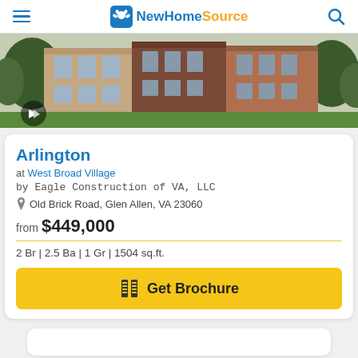NewHomeSource
[Figure (photo): Exterior rendering of brick townhomes with green landscaping]
Arlington
at West Broad Village
by Eagle Construction of VA, LLC
Old Brick Road, Glen Allen, VA 23060
from $449,000
2 Br | 2.5 Ba | 1 Gr | 1504 sq.ft.
Get Brochure